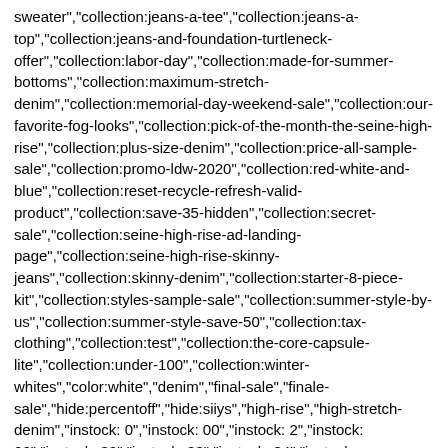sweater","collection:jeans-a-tee","collection:jeans-a-top","collection:jeans-and-foundation-turtleneck-offer","collection:labor-day","collection:made-for-summer-bottoms","collection:maximum-stretch-denim","collection:memorial-day-weekend-sale","collection:our-favorite-fog-looks","collection:pick-of-the-month-the-seine-high-rise","collection:plus-size-denim","collection:price-all-sample-sale","collection:promo-ldw-2020","collection:red-white-and-blue","collection:reset-recycle-refresh-valid-product","collection:save-35-hidden","collection:secret-sale","collection:seine-high-rise-ad-landing-page","collection:seine-high-rise-skinny-jeans","collection:skinny-denim","collection:starter-8-piece-kit","collection:styles-sample-sale","collection:summer-style-by-us","collection:summer-style-save-50","collection:tax-clothing","collection:test","collection:the-core-capsule-lite","collection:under-100","collection:winter-whites","color:white","denim","final-sale","finale-sale","hide:percentoff","hide:siiys","high-rise","high-stretch-denim","instock: 0","instock: 00","instock: 2","instock: 26","instock: 30","instock: 32","instock: 34","instock: 36","instock: 38","instock: 40","JULY4","kit-easy-capsule-04","kit-easy-capsule-04:04","kit-starter-8","kit-starter-8:2","machine-washable","mbp2","mini-core-kit","mini-core-kit:1b","no-returns:2022-07-17_2022-08-02","no-returns:2022-07-17_20220-08-02","non-UEL","outfit:jan-outfit-